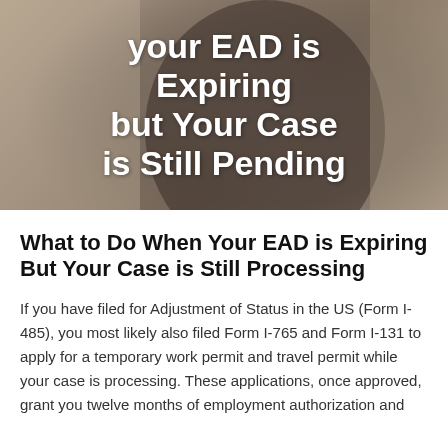[Figure (photo): A person sitting and thinking on the phone, with overlaid white bold text reading 'your EAD is Expiring but Your Case is Still Pending']
What to Do When Your EAD is Expiring But Your Case is Still Processing
If you have filed for Adjustment of Status in the US (Form I-485), you most likely also filed Form I-765 and Form I-131 to apply for a temporary work permit and travel permit while your case is processing. These applications, once approved, grant you twelve months of employment authorization and